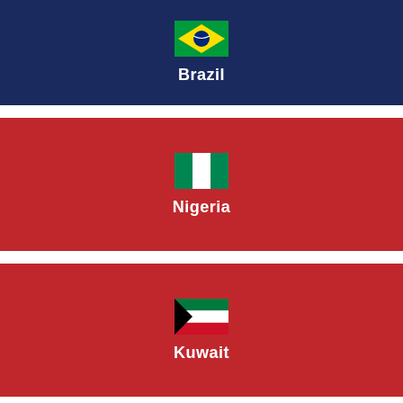[Figure (illustration): Brazil card with green-yellow-blue Brazilian flag and country name 'Brazil' on dark navy background]
[Figure (illustration): Nigeria card with green-white-green Nigerian flag and country name 'Nigeria' on red background]
[Figure (illustration): Kuwait card with green-white-red-black Kuwaiti flag and country name 'Kuwait' on red background]
[Figure (illustration): Partial card showing Irish flag (green-white-orange) on dark navy background, partially visible at bottom]